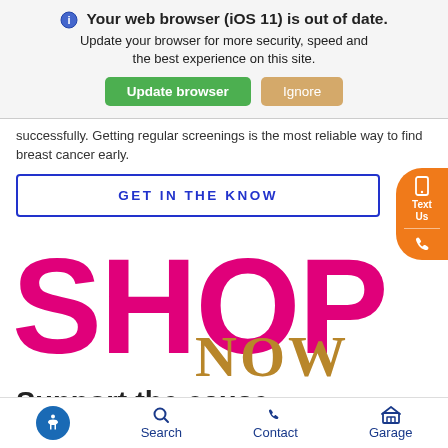[Figure (screenshot): Browser update notification banner with icon, bold title 'Your web browser (iOS 11) is out of date.', body text, and two buttons: 'Update browser' (green) and 'Ignore' (tan/gold)]
successfully. Getting regular screenings is the most reliable way to find breast cancer early.
GET IN THE KNOW
[Figure (logo): Large 'SHOP NOW' graphic with SHOP in bold pink/magenta and NOW in gold serif font, overlapping layout]
Support the cause
Accessibility icon | Search | Contact | Garage